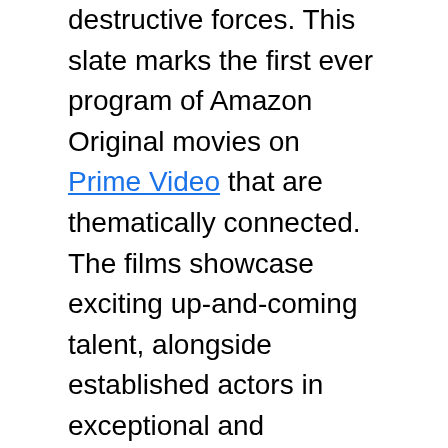destructive forces. This slate marks the first ever program of Amazon Original movies on Prime Video that are thematically connected. The films showcase exciting up-and-coming talent, alongside established actors in exceptional and shocking new roles. Welcome to the Blumhouse will launch in October, timed for the Halloween season, on Prime Video in over 240 countries and territories worldwide.
Amazon Prime Video will launch the initial slate of four films as double features starting with The Lie directed by acclaimed writer/director Veena Sud (The Killing, 7 Seconds) and Black Box directed by up-and-coming writer/director Emmanuel Osei-